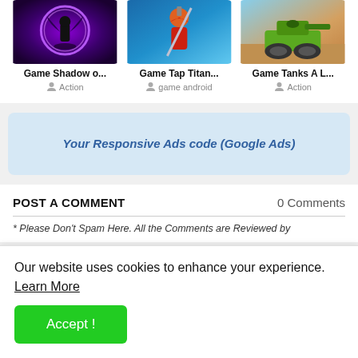[Figure (screenshot): Three game card thumbnails: Game Shadow o..., Game Tap Titan..., Game Tanks A L...]
Game Shadow o...
Action
Game Tap Titan...
game android
Game Tanks A L...
Action
Your Responsive Ads code (Google Ads)
POST A COMMENT
0 Comments
* Please Don't Spam Here. All the Comments are Reviewed by
Our website uses cookies to enhance your experience.
Learn More
Accept !